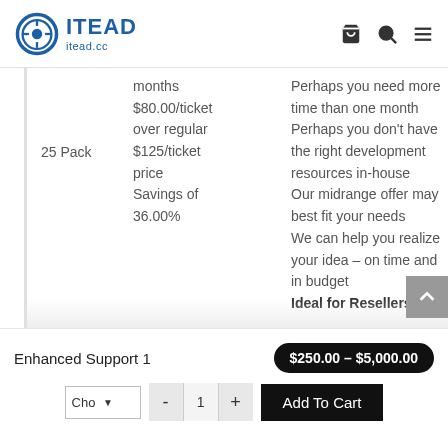ITEAD itead.cc
|  | Details | Description |
| --- | --- | --- |
| 25 Pack | months
$80.00/ticket over regular $125/ticket price
Savings of 36.00% | Perhaps you need more time than one month
Perhaps you don’t have the right development resources in-house
Our midrange offer may best fit your needs
We can help you realize your idea – on time and in budget
Ideal for Resellers with |
Enhanced Support 1
$250.00 – $5,000.00
Cho ▾  -  1  +  Add To Cart